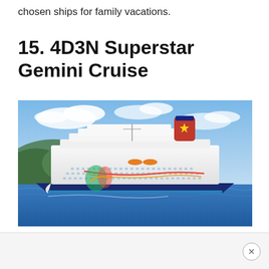chosen ships for family vacations.
15. 4D3N Superstar Gemini Cruise
[Figure (photo): Photograph of the Superstar Gemini cruise ship sailing on blue ocean water with green hills in the background and a partly cloudy sky. The ship is white with colorful decorations and a distinctive red and blue funnel with a yellow star.]